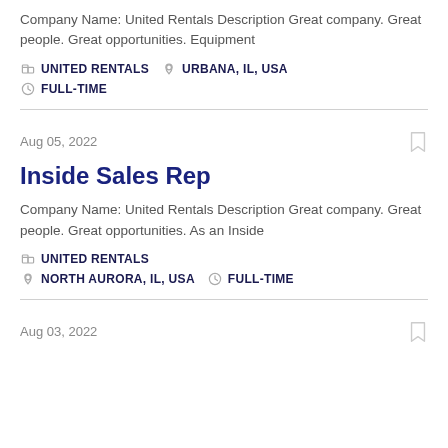Company Name: United Rentals Description Great company. Great people. Great opportunities. Equipment
UNITED RENTALS  URBANA, IL, USA  FULL-TIME
Aug 05, 2022
Inside Sales Rep
Company Name: United Rentals Description Great company. Great people. Great opportunities. As an Inside
UNITED RENTALS  NORTH AURORA, IL, USA  FULL-TIME
Aug 03, 2022